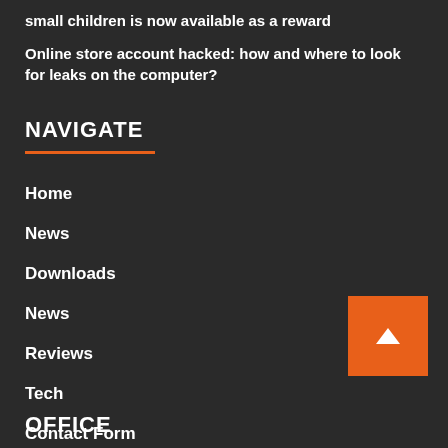small children is now available as a reward
Online store account hacked: how and where to look for leaks on the computer?
NAVIGATE
Home
News
Downloads
News
Reviews
Tech
Contact Form
OFFICE